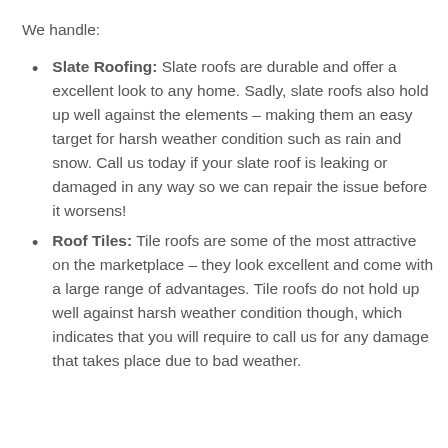We handle:
Slate Roofing: Slate roofs are durable and offer a excellent look to any home. Sadly, slate roofs also hold up well against the elements – making them an easy target for harsh weather condition such as rain and snow. Call us today if your slate roof is leaking or damaged in any way so we can repair the issue before it worsens!
Roof Tiles: Tile roofs are some of the most attractive on the marketplace – they look excellent and come with a large range of advantages. Tile roofs do not hold up well against harsh weather condition though, which indicates that you will require to call us for any damage that takes place due to bad weather.